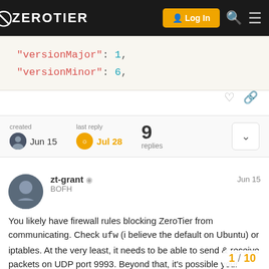ZeroTier — Log In
"versionMajor": 1,
"versionMinor": 6,
| created | last reply | replies |
| --- | --- | --- |
| Jun 15 | Jul 28 | 9 |
zt-grant BOFH Jun 15
You likely have firewall rules blocking ZeroTier from communicating. Check ufw (i believe the default on Ubuntu) or iptables. At the very least, it needs to be able to send & receive packets on UDP port 9993. Beyond that, it's possible your router may be blocking traffic. How to fix that is dependent on your router.
1 / 10